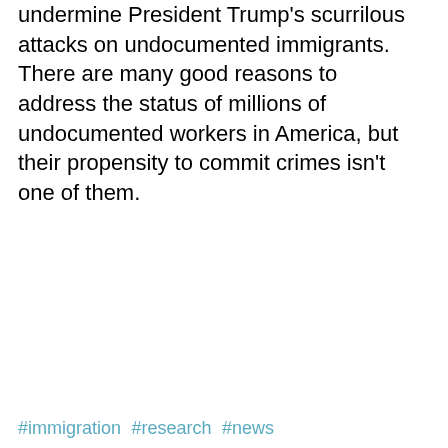undermine President Trump's scurrilous attacks on undocumented immigrants. There are many good reasons to address the status of millions of undocumented workers in America, but their propensity to commit crimes isn't one of them.
#immigration #research #news
News • Immigration • Research
[Figure (other): Social share icons: Facebook, Twitter, link/copy]
Home Page
Our Fabulous Guatemalan Textil...
Join our mailing list